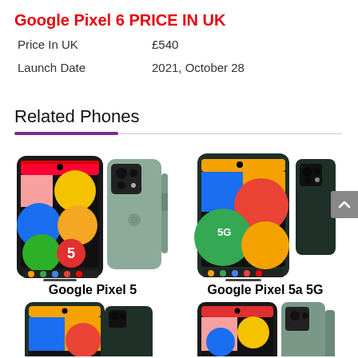Google Pixel 6 PRICE IN UK
| Price In UK | £540 |
| Launch Date | 2021, October 28 |
Related Phones
[Figure (photo): Google Pixel 5 phone front and back view in sage green color]
Google Pixel 5
[Figure (photo): Google Pixel 5a 5G phone front and back view in dark green color]
Google Pixel 5a 5G
[Figure (photo): Bottom row partial phone images]
[Figure (photo): Bottom row partial phone images right]